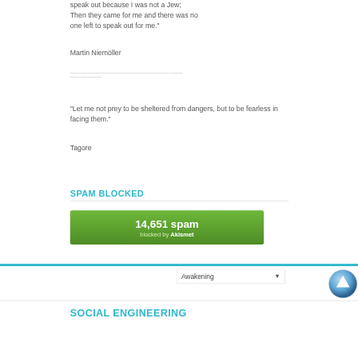speak out because I was not a Jew; Then they came for me and there was no one left to speak out for me."
Martin Niemöller
---------------------------------------------------------------------------------------------
--------------------
"Let me not prey to be sheltered from dangers, but to be fearless in facing them."
Tagore
SPAM BLOCKED
[Figure (infographic): Green rounded rectangle widget showing '14,651 spam blocked by Akismet']
[Figure (screenshot): Dropdown selector showing 'Awakening' with a down arrow, and a blue circular scroll-to-top button]
SOCIAL ENGINEERING